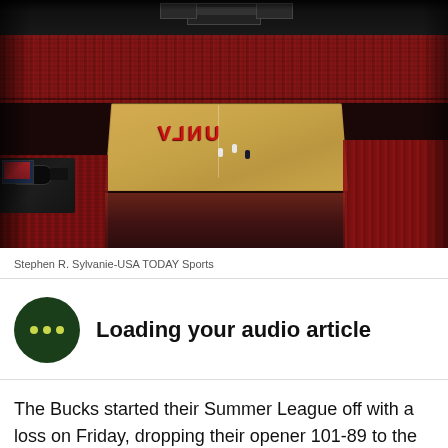[Figure (photo): Wide-angle aerial view of a packed UNLV basketball arena with red-clad crowd and the court visible in the center, with a TV camera in the foreground left.]
Stephen R. Sylvanie-USA TODAY Sports
Loading your audio article
The Bucks started their Summer League off with a loss on Friday, dropping their opener 101-89 to the New